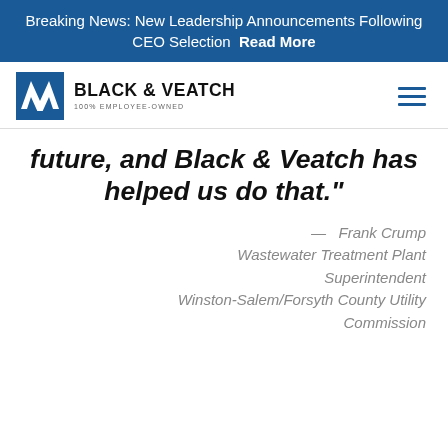Breaking News: New Leadership Announcements Following CEO Selection Read More
[Figure (logo): Black & Veatch logo — BV monogram in blue square, text BLACK & VEATCH 100% EMPLOYEE-OWNED]
future, and Black & Veatch has helped us do that."
— Frank Crump
Wastewater Treatment Plant Superintendent
Winston-Salem/Forsyth County Utility Commission